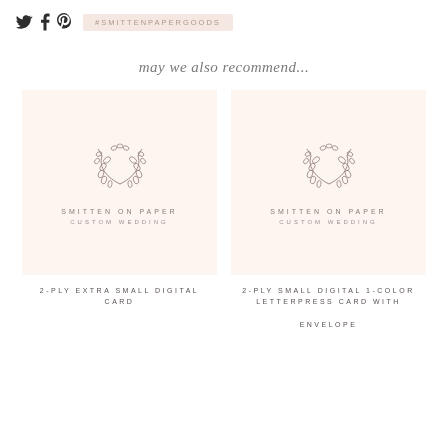#SMITTENPAPERGOODS
may we also recommend...
[Figure (illustration): Product card showing Smitten on Paper custom wedding logo with wreath illustration, labeled 'SMITTEN ON PAPER' and 'CUSTOM WEDDING']
[Figure (illustration): Product card showing Smitten on Paper custom wedding logo with wreath illustration, labeled 'SMITTEN ON PAPER' and 'CUSTOM WEDDING']
2-PLY EXTRA SMALL DIGITAL CARD
2-PLY SMALL DIGITAL 1-COLOR LETTERPRESS CARD WITH ENVELOPE